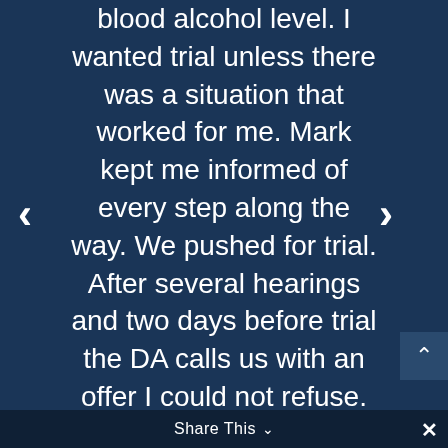blood alcohol level. I wanted trial unless there was a situation that worked for me. Mark kept me informed of every step along the way. We pushed for trial. After several hearings and two days before trial the DA calls us with an offer I could not refuse. Mark was ready for trial and I only took the offer because it was that good. Our defense was ready for trial. I felt that he was always one step ahead.
Share This ∨  ✕